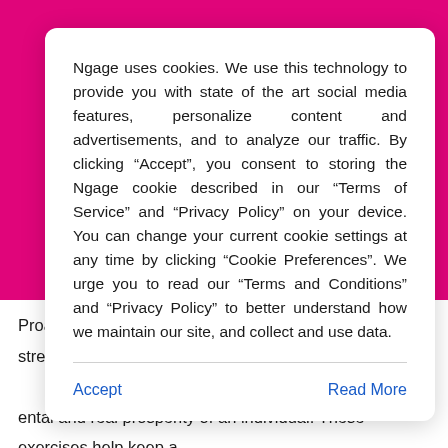Ngage uses cookies. We use this technology to provide you with state of the art social media features, personalize content and advertisements, and to analyze our traffic. By clicking “Accept”, you consent to storing the Ngage cookie described in our “Terms of Service” and “Privacy Policy” on your device. You can change your current cookie settings at any time by clicking “Cookie Preferences”. We urge you to read our “Terms and Conditions” and “Privacy Policy” to better understand how we maintain our site, and collect and use data.
Accept
Read More
Proactive errands expect a significant part in strengthening both the mental and real prosperity of an individual. These exercises help keep a strong body weight and improve the mental limits too. Individuals follo